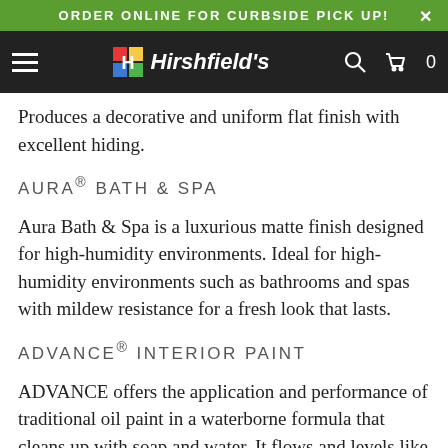ORDER ONLINE FOR CURBSIDE PICK UP!
[Figure (logo): Hirshfield's logo with colorful H icon on dark navigation bar with hamburger menu, search icon, and cart icon showing 0]
Produces a decorative and uniform flat finish with excellent hiding.
AURA® BATH & SPA
Aura Bath & Spa is a luxurious matte finish designed for high-humidity environments. Ideal for high-humidity environments such as bathrooms and spas with mildew resistance for a fresh look that lasts.
ADVANCE® INTERIOR PAINT
ADVANCE offers the application and performance of traditional oil paint in a waterborne formula that cleans up with soap and water. It flows and levels like a